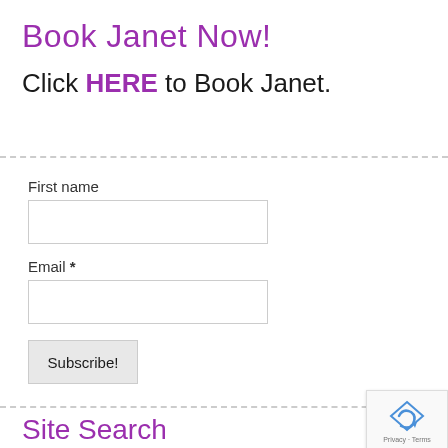Book Janet Now!
Click HERE to Book Janet.
First name
Email *
Subscribe!
Site Search